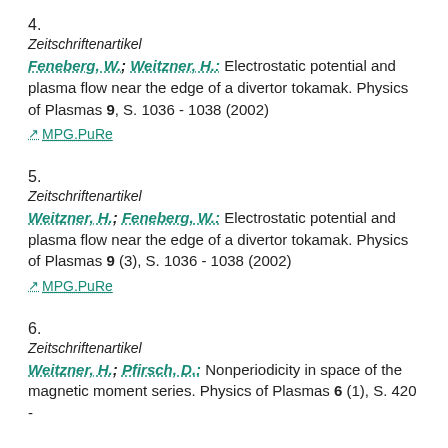4.
Zeitschriftenartikel
Feneberg, W.; Weitzner, H.: Electrostatic potential and plasma flow near the edge of a divertor tokamak. Physics of Plasmas 9, S. 1036 - 1038 (2002)
MPG.PuRe
5.
Zeitschriftenartikel
Weitzner, H.; Feneberg, W.: Electrostatic potential and plasma flow near the edge of a divertor tokamak. Physics of Plasmas 9 (3), S. 1036 - 1038 (2002)
MPG.PuRe
6.
Zeitschriftenartikel
Weitzner, H.; Pfirsch, D.: Nonperiodicity in space of the magnetic moment series. Physics of Plasmas 6 (1), S. 420 -